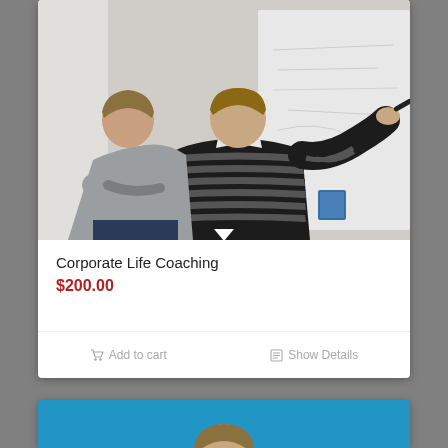[Figure (photo): Two men in business casual attire, one in a striped sweater writing on a whiteboard and one in a grey sweater watching with arms crossed]
Corporate Life Coaching
$200.00
Add to cart
Show Details
[Figure (photo): Portrait of a man against a blue background, partially visible at bottom of page]